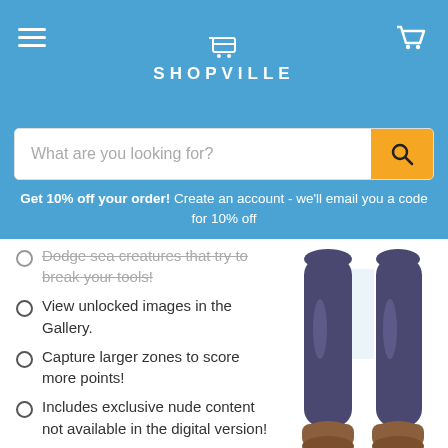SHOPVILLE
What are you looking for?
Get 10% off your order! Create an account - we'll email you a code for 10% off
Dodge sea creatures that try to break your tools!
View unlocked images in the Gallery.
Capture larger zones to score more points!
Includes exclusive nude content not available in the digital version!
[Figure (illustration): Illustration of a female character's legs wearing dark navy/purple tights and brown shoes, cropped from the knees down.]
Pretty Girls Mahjong Solitaire